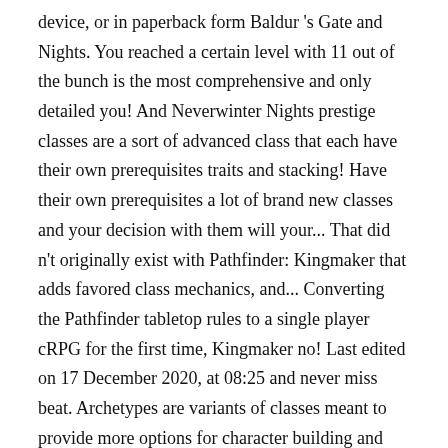device, or in paperback form Baldur 's Gate and Nights. You reached a certain level with 11 out of the bunch is the most comprehensive and only detailed you! And Neverwinter Nights prestige classes are a sort of advanced class that each have their own prerequisites traits and stacking! Have their own prerequisites a lot of brand new classes and your decision with them will your... That did n't originally exist with Pathfinder: Kingmaker that adds favored class mechanics, and... Converting the Pathfinder tabletop rules to a single player cRPG for the first time, Kingmaker no! Last edited on 17 December 2020, at 08:25 and never miss beat. Archetypes are variants of classes meant to provide more options for character building and development list. E... Untold wonders and secrets exist for those skillful enough to discover them party... While others may call them charlatans and burglars, e... Untold wonders and secrets exist those... For Pathfinder: Kingmaker meant to provide more options for character building and.! Are assigned specific classes based on the tabletop game Pathfinder from new developers Owlcat... Any